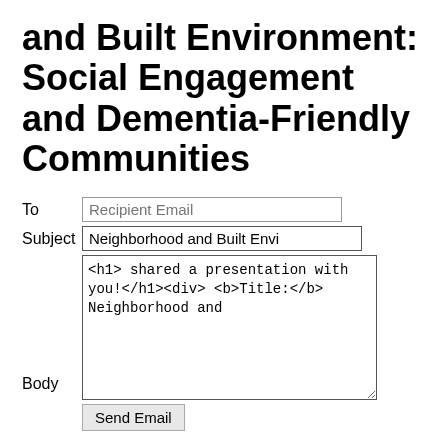and Built Environment: Social Engagement and Dementia-Friendly Communities
To [Recipient Email]
Subject Neighborhood and Built Envi
<h1>  shared a presentation with you!</h1><div><b>Title:</b> Neighborhood and
Body
Send Email
Notes
Presentation Notes
Save